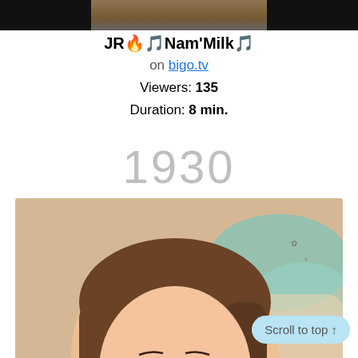[Figure (photo): Partial thumbnail image at top, dark/black background strip]
JR🔥🎵Nam'Milk🎵
on bigo.tv
Viewers: 135
Duration: 8 min.
1930
[Figure (photo): Photo of a young woman with brown and pink-highlighted hair, wearing a black off-shoulder top, lying down, smiling at camera]
🎵🎵🎵🎵🎵
on bigo.tv
Viewers: 135
Scroll to top ↑